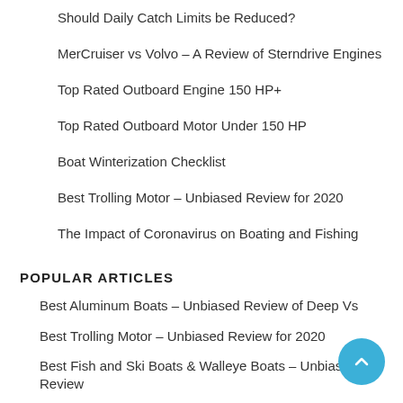Should Daily Catch Limits be Reduced?
MerCruiser vs Volvo – A Review of Sterndrive Engines
Top Rated Outboard Engine 150 HP+
Top Rated Outboard Motor Under 150 HP
Boat Winterization Checklist
Best Trolling Motor – Unbiased Review for 2020
The Impact of Coronavirus on Boating and Fishing
POPULAR ARTICLES
Best Aluminum Boats – Unbiased Review of Deep Vs
Best Trolling Motor – Unbiased Review for 2020
Best Fish and Ski Boats & Walleye Boats – Unbiased Review
Best Aluminum Boats – Unbiased Review of Mod Vs
Best Bass Boats – Unbiased Review
Best Boat Wax Unbiased Review